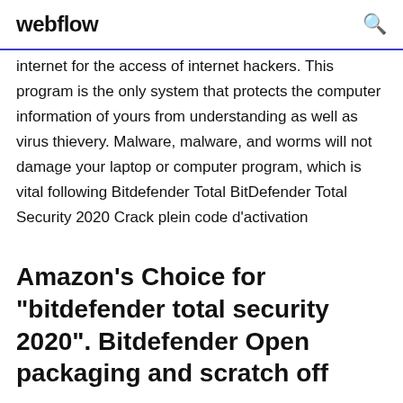webflow
internet for the access of internet hackers. This program is the only system that protects the computer information of yours from understanding as well as virus thievery. Malware, malware, and worms will not damage your laptop or computer program, which is vital following Bitdefender Total BitDefender Total Security 2020 Crack plein code d'activation
Amazon's Choice for "bitdefender total security 2020". Bitdefender Open packaging and scratch off